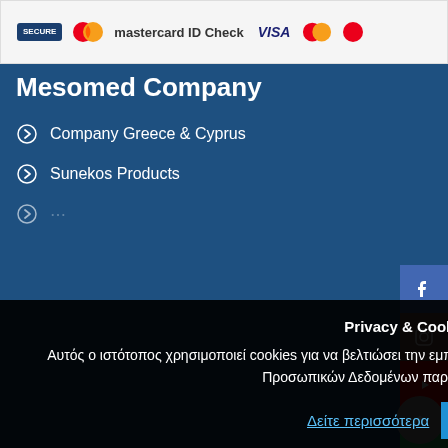[Figure (other): Payment security banner showing SECURE badge, Mastercard ID Check and VISA logos]
Mesomed Company
Company Greece & Cyprus
Sunekos Products
[Figure (other): Social media buttons: Facebook, Instagram, YouTube, WhatsApp, Viber, scroll-to-top]
Privacy & Cookies Policy
Αυτός ο ιστότοπος χρησιμοποιεί cookies για να βελτιώσει την εμπειρία σας. Για να ενημερωθείτε για την Πολιτική Προστασίας Προσωπικών Δεδομένων παρακαλούμε κάντε κλικ εδώ:
Δείτε περισσότερα | ΑΠΟΔΟΧΗ